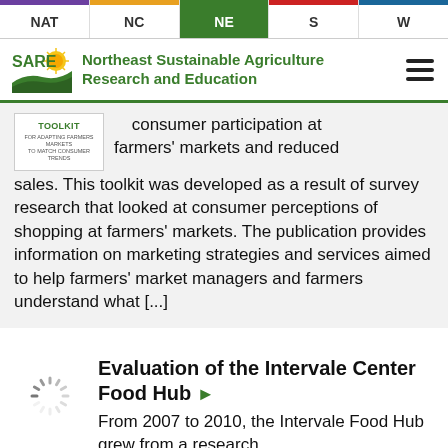NAT | NC | NE | S | W
[Figure (logo): SARE logo with sun/field graphic and text: Northeast Sustainable Agriculture Research and Education]
consumer participation at farmers' markets and reduced sales. This toolkit was developed as a result of survey research that looked at consumer perceptions of shopping at farmers' markets. The publication provides information on marketing strategies and services aimed to help farmers' market managers and farmers understand what [...]
Evaluation of the Intervale Center Food Hub
From 2007 to 2010, the Intervale Food Hub grew from a research